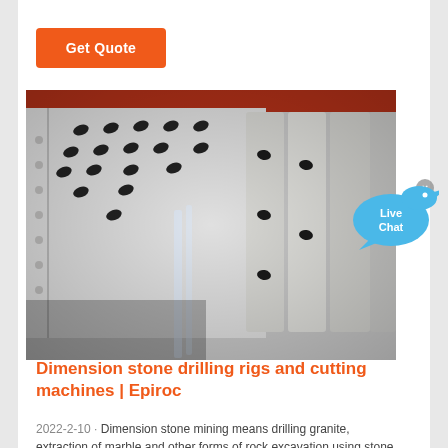Get Quote
[Figure (photo): Industrial white metal drilling or cutting machine with multiple black holders/brackets mounted on panels, close-up view showing mechanical components]
[Figure (infographic): Live Chat speech bubble button with blue fish icon and X close button]
Dimension stone drilling rigs and cutting machines | Epiroc
2022-2-10 · Dimension stone mining means drilling granite, extraction of marble and other forms of rock excavation using stone